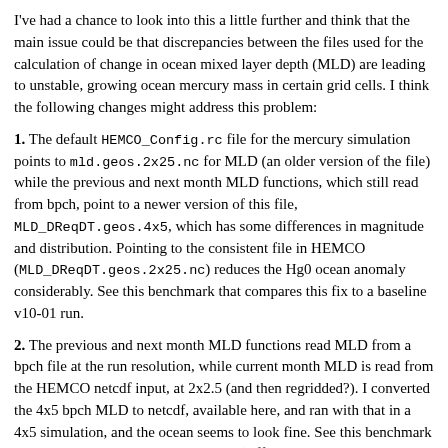I've had a chance to look into this a little further and think that the main issue could be that discrepancies between the files used for the calculation of change in ocean mixed layer depth (MLD) are leading to unstable, growing ocean mercury mass in certain grid cells. I think the following changes might address this problem:
1. The default HEMCO_Config.rc file for the mercury simulation points to mld.geos.2x25.nc for MLD (an older version of the file) while the previous and next month MLD functions, which still read from bpch, point to a newer version of this file, MLD_DReqDT.geos.4x5, which has some differences in magnitude and distribution. Pointing to the consistent file in HEMCO (MLD_DReqDT.geos.2x25.nc) reduces the Hg0 ocean anomaly considerably. See this benchmark that compares this fix to a baseline v10-01 run.
2. The previous and next month MLD functions read MLD from a bpch file at the run resolution, while current month MLD is read from the HEMCO netcdf input, at 2x2.5 (and then regridded?). I converted the 4x5 bpch MLD to netcdf, available here, and ran with that in a 4x5 simulation, and the ocean seems to look fine. See this benchmark that compares this run to a v9-02 run (different meteorological year, but gives a sense of the pattern). The 2x2.5 simulation, with the 2x2.5 MLD,